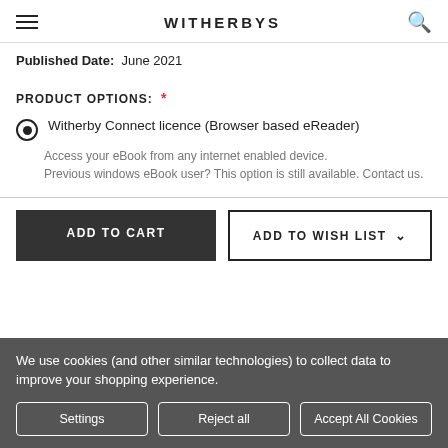WITHERBYS
Published Date:  June 2021
PRODUCT OPTIONS: *
Witherby Connect licence (Browser based eReader)
Access your eBook from any internet enabled device. Previous windows eBook user? This option is still available. Contact us.
ADD TO CART
ADD TO WISH LIST
We use cookies (and other similar technologies) to collect data to improve your shopping experience.
Settings
Reject all
Accept All Cookies